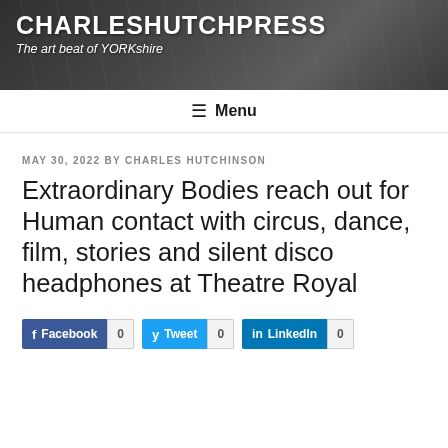CHARLESHUTCHPRESS – The art beat of YORKshire
≡ Menu
MAY 30, 2022 BY CHARLES HUTCHINSON
Extraordinary Bodies reach out for Human contact with circus, dance, film, stories and silent disco headphones at Theatre Royal
Facebook 0  Tweet 0  LinkedIn 0